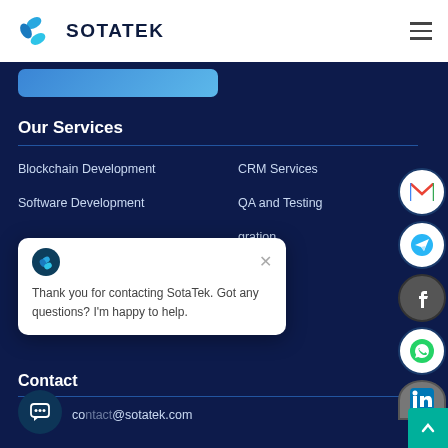[Figure (logo): SotaTek logo with blue butterfly/leaf icon and bold text SOTATEK]
[Figure (infographic): Hamburger menu icon (three horizontal lines)]
Our Services
Blockchain Development
CRM Services
Software Development
QA and Testing
[third service row - partially visible, contains 'gration']
[Figure (screenshot): Chat popup with SotaTek logo avatar and close X button, showing message: Thank you for contacting SotaTek. Got any questions? I'm happy to help.]
Contact
[Figure (infographic): Chat bubble icon button]
contact@sotatek.com
[Figure (infographic): Social media icons column: Gmail, Telegram, Facebook, WhatsApp, LinkedIn]